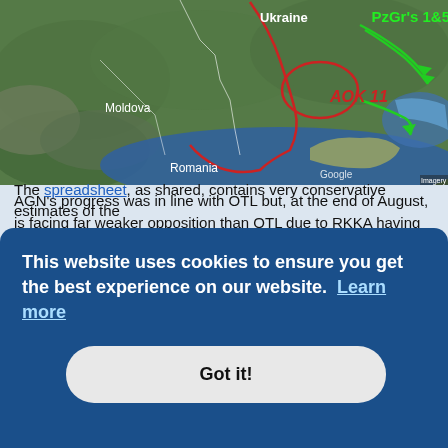[Figure (map): Satellite map showing Ukraine, Moldova, Romania regions with the Black Sea. Red and green military markings overlay the map: a red oval circle near the eastern Ukraine/Crimea region labeled 'AOK 11', green arrows labeled 'PzGr's 1&5', red boundary lines, and a blue coastal area. Google and imagery watermarks visible.]
AGN's progress was in line with OTL but, at the end of August, is facing far weaker opposition than OTL due to RKKA having lost ~1.5mil more men than OTL so far.
I also introduced a spreadsheet to track certain quantitative/qualitative factors:
[partial text hidden behind cookie banner] ...s for
[partial text hidden behind cookie banner] ...raining ...ces have
[partial text hidden behind cookie banner] ...eeds.
The spreadsheet, as shared, contains very conservative estimates of the
This website uses cookies to ensure you get the best experience on our website. Learn more
Got it!